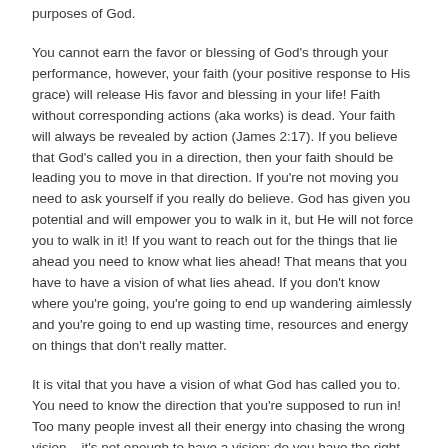purposes of God.
You cannot earn the favor or blessing of God's through your performance, however, your faith (your positive response to His grace) will release His favor and blessing in your life! Faith without corresponding actions (aka works) is dead. Your faith will always be revealed by action (James 2:17). If you believe that God's called you in a direction, then your faith should be leading you to move in that direction. If you're not moving you need to ask yourself if you really do believe. God has given you potential and will empower you to walk in it, but He will not force you to walk in it! If you want to reach out for the things that lie ahead you need to know what lies ahead! That means that you have to have a vision of what lies ahead. If you don't know where you're going, you're going to end up wandering aimlessly and you're going to end up wasting time, resources and energy on things that don't really matter.
It is vital that you have a vision of what God has called you to. You need to know the direction that you're supposed to run in! Too many people invest all their energy into chasing the wrong vision – it's not enough to have a vision; do you have the right one? It's a sad thing to climb the ladder of success and realize that you are leaning against the wrong wall. Are you on the wrong ladder? You need to be going in the right direction. Like someone once said, "if your ladder is not leaning against the correct wall, then every step you take is taking you further from your destination."